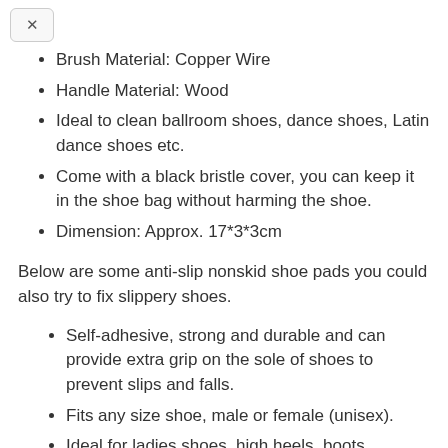Brush Material: Copper Wire
Handle Material: Wood
Ideal to clean ballroom shoes, dance shoes, Latin dance shoes etc.
Come with a black bristle cover, you can keep it in the shoe bag without harming the shoe.
Dimension: Approx. 17*3*3cm
Below are some anti-slip nonskid shoe pads you could also try to fix slippery shoes.
Self-adhesive, strong and durable and can provide extra grip on the sole of shoes to prevent slips and falls.
Fits any size shoe, male or female (unisex).
Ideal for ladies shoes, high heels, boots